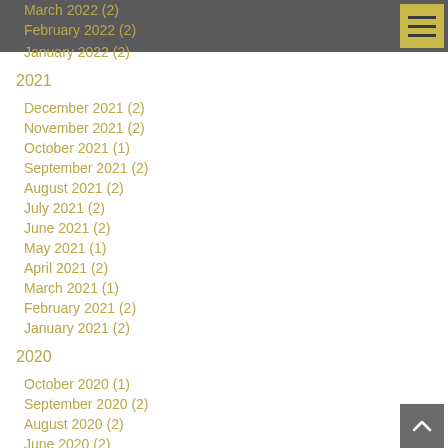March 2022 (2)
February 2022 (2)
January 2022 (2)
2021
December 2021 (2)
November 2021 (2)
October 2021 (1)
September 2021 (2)
August 2021 (2)
July 2021 (2)
June 2021 (2)
May 2021 (1)
April 2021 (2)
March 2021 (1)
February 2021 (2)
January 2021 (2)
2020
October 2020 (1)
September 2020 (2)
August 2020 (2)
June 2020 (2)